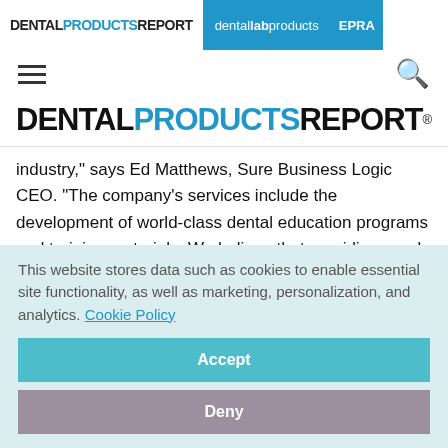DENTAL PRODUCTS REPORT | dental lab products | EPRA
[Figure (logo): Dental Products Report logo - hamburger menu and search icon navigation]
[Figure (logo): DENTAL PRODUCTS REPORT main logo centered]
industry," says Ed Matthews, Sure Business Logic CEO. "The company's services include the development of world-class dental education programs and training materials. We believe that providing good educational content with value helps
This website stores data such as cookies to enable essential site functionality, as well as marketing, personalization, and analytics. Cookie Policy
Accept
Deny